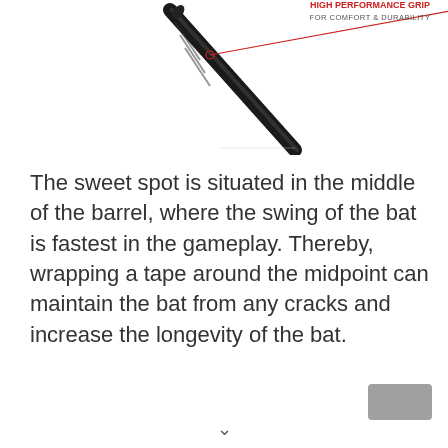[Figure (illustration): A baseball bat handle/grip shown diagonally with a red annotation line pointing to the grip area, and red text label 'HIGH PERFORMANCE GRIP FOR COMFORT & DURABILITY' in the upper right.]
The sweet spot is situated in the middle of the barrel, where the swing of the bat is fastest in the gameplay. Thereby, wrapping a tape around the midpoint can maintain the bat from any cracks and increase the longevity of the bat.